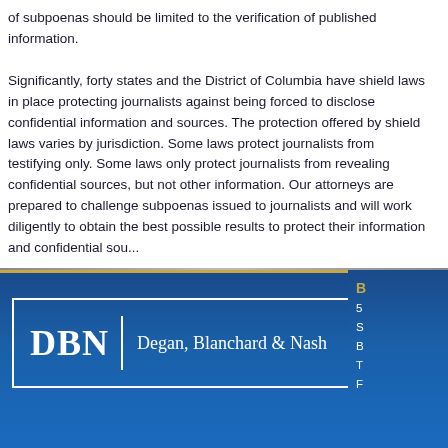of subpoenas should be limited to the verification of published information. Significantly, forty states and the District of Columbia have shield laws in place protecting journalists against being forced to disclose confidential information and sources. The protection offered by shield laws varies by jurisdiction. Some laws protect journalists from testifying only. Some laws only protect journalists from revealing confidential sources, but not other information. Our attorneys are prepared to challenge subpoenas issued to journalists and will work diligently to obtain the best possible results to protect their information and confidential sources.
[Figure (logo): DBN Degan, Blanchard & Nash law firm logo — white text on blue background with border, with sidebar contact info]